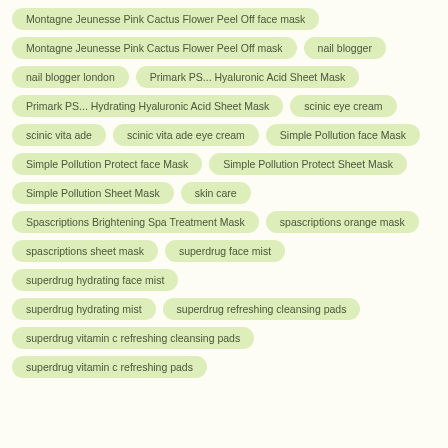Montagne Jeunesse Pink Cactus Flower Peel Off face mask
Montagne Jeunesse Pink Cactus Flower Peel Off mask
nail blogger
nail blogger london
Primark PS... Hyaluronic Acid Sheet Mask
Primark PS... Hydrating Hyaluronic Acid Sheet Mask
scinic eye cream
scinic vita ade
scinic vita ade eye cream
Simple Pollution face Mask
Simple Pollution Protect face Mask
Simple Pollution Protect Sheet Mask
Simple Pollution Sheet Mask
skin care
Spascriptions Brightening Spa Treatment Mask
spascriptions orange mask
spascriptions sheet mask
superdrug face mist
superdrug hydrating face mist
superdrug hydrating mist
superdrug refreshing cleansing pads
superdrug vitamin c refreshing cleansing pads
superdrug vitamin c refreshing pads